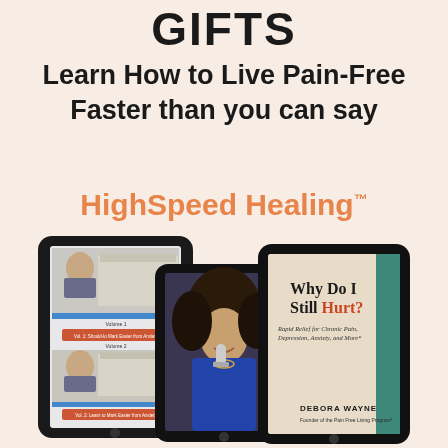GIFTS
Learn How to Live Pain-Free Faster than you can say
HighSpeed Healing™
[Figure (photo): Three tablet devices showing: (left) a video course interface with a woman presenter shown twice across two video thumbnails labeled Volume 1 and Volume 2; (center) a tablet showing a woman with curly hair smiling, holding a microphone, wearing a blue top; (right) a tablet displaying the book cover 'Why Do I Still Hurt? Rapid Relief for Chronic Pain, Depression, Anxiety, and More' by Debora Wayne, Founder of the Pain Free Living Program.]